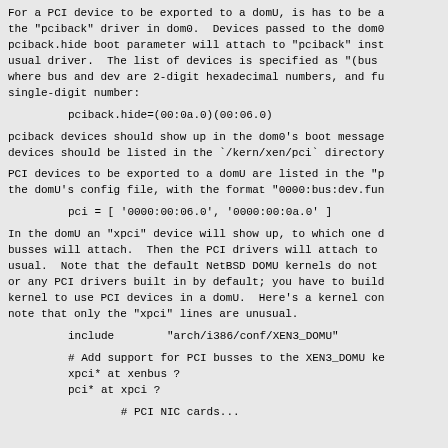For a PCI device to be exported to a domU, is has to be attached to the "pciback" driver in dom0.  Devices passed to the dom0 with the pciback.hide boot parameter will attach to "pciback" instead of the usual driver.  The list of devices is specified as "(bus:dev.fun)" where bus and dev are 2-digit hexadecimal numbers, and fun is a single-digit number:
pciback.hide=(00:0a.0)(00:06.0)
pciback devices should show up in the dom0's boot messages, and the devices should be listed in the `/kern/xen/pci` directory.
PCI devices to be exported to a domU are listed in the "pci" key in the domU's config file, with the format "0000:bus:dev.fun":
pci = [ '0000:00:06.0', '0000:00:0a.0' ]
In the domU an "xpci" device will show up, to which one or more PCI busses will attach.  Then the PCI drivers will attach to the busses as usual.  Note that the default NetBSD DOMU kernels do not have "xpci" or any PCI drivers built in by default; you have to build a custom kernel to use PCI devices in a domU.  Here's a kernel config fragment; note that only the "xpci" lines are unusual.
include         "arch/i386/conf/XEN3_DOMU"

# Add support for PCI busses to the XEN3_DOMU ke
xpci* at xenbus ?
pci* at xpci ?

# PCI NIC cards...